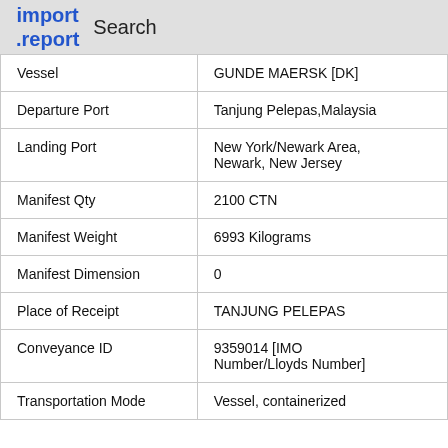import.report   Search
| Vessel | GUNDE MAERSK [DK] |
| Departure Port | Tanjung Pelepas,Malaysia |
| Landing Port | New York/Newark Area, Newark, New Jersey |
| Manifest Qty | 2100 CTN |
| Manifest Weight | 6993 Kilograms |
| Manifest Dimension | 0 |
| Place of Receipt | TANJUNG PELEPAS |
| Conveyance ID | 9359014 [IMO Number/Lloyds Number] |
| Transportation Mode | Vessel, containerized |